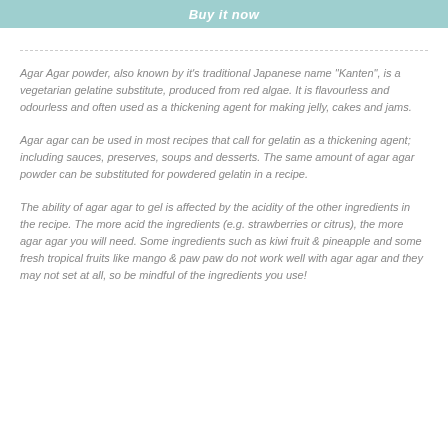Buy it now
Agar Agar powder, also known by it's traditional Japanese name "Kanten", is a vegetarian gelatine substitute, produced from red algae. It is flavourless and odourless and often used as a thickening agent for making jelly, cakes and jams.
Agar agar can be used in most recipes that call for gelatin as a thickening agent; including sauces, preserves, soups and desserts. The same amount of agar agar powder can be substituted for powdered gelatin in a recipe.
The ability of agar agar to gel is affected by the acidity of the other ingredients in the recipe. The more acid the ingredients (e.g. strawberries or citrus), the more agar agar you will need. Some ingredients such as kiwi fruit & pineapple and some fresh tropical fruits like mango & paw paw do not work well with agar agar and they may not set at all, so be mindful of the ingredients you use!